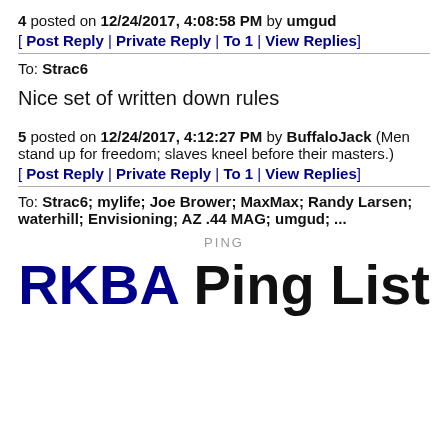4 posted on 12/24/2017, 4:08:58 PM by umgud
[ Post Reply | Private Reply | To 1 | View Replies]
To: Strac6
Nice set of written down rules
5 posted on 12/24/2017, 4:12:27 PM by BuffaloJack (Men stand up for freedom; slaves kneel before their masters.)
[ Post Reply | Private Reply | To 1 | View Replies]
To: Strac6; mylife; Joe Brower; MaxMax; Randy Larsen; waterhill; Envisioning; AZ .44 MAG; umgud; ...
PING
RKBA Ping List